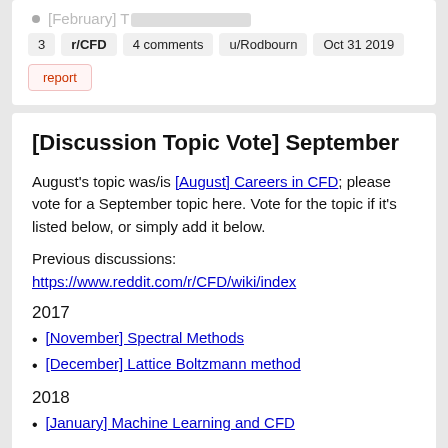[February] [truncated link]
3  r/CFD  4 comments  u/Rodbourn  Oct 31 2019
report
[Discussion Topic Vote] September
August's topic was/is [August] Careers in CFD; please vote for a September topic here. Vote for the topic if it's listed below, or simply add it below.
Previous discussions:
https://www.reddit.com/r/CFD/wiki/index
2017
[November] Spectral Methods
[December] Lattice Boltzmann method
2018
[January] Machine Learning and CFD